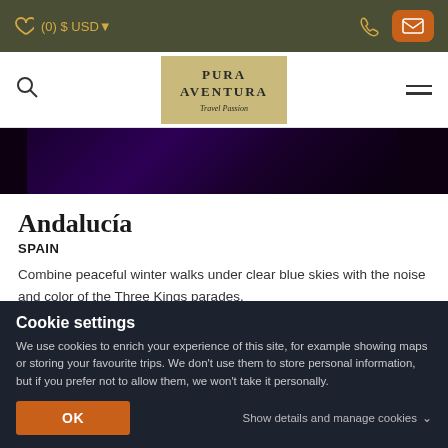(0) $ USD▼
[Figure (logo): PURA AVENTURA Travel Passion logo on golden beige background]
[Figure (photo): Dark purple/night scene hero image, partially cropped]
Andalucía
SPAIN
Combine peaceful winter walks under clear blue skies with the noise and color of the Three Kings parades.
Andalucía Drive & Explore
Cookie settings
We use cookies to enrich your experience of this site, for example showing maps or storing your favourite trips. We don't use them to store personal information, but if you prefer not to allow them, we won't take it personally.
OK
Show details and manage cookies